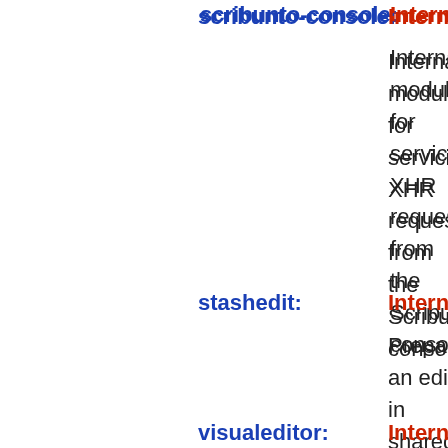scribunto-console: Internal Internal module for servicing XHR requests from the Scribunto console.
stashedit: Internal Prepare an edit in shared cache.
visualeditor: Internal